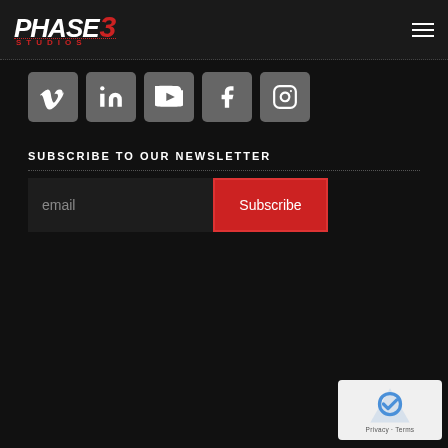Phase 3 Studios
[Figure (logo): Phase 3 Studios logo with red numeral 3 and dotted red STUDIOS text below]
[Figure (infographic): Social media icons row: Vimeo, LinkedIn, YouTube, Facebook, Instagram — grey square rounded buttons]
SUBSCRIBE TO OUR NEWSLETTER
[Figure (screenshot): Email input field with placeholder 'email' and a red Subscribe button]
[Figure (logo): Google reCAPTCHA badge with Privacy and Terms links]